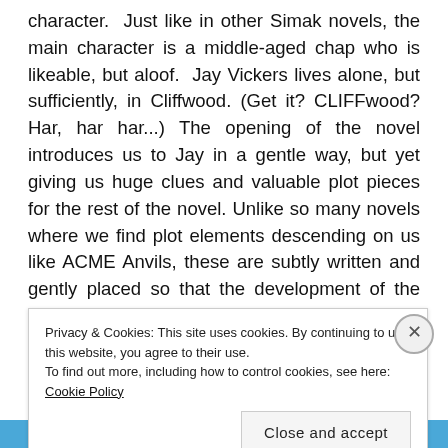character.  Just like in other Simak novels, the main character is a middle-aged chap who is likeable, but aloof.  Jay Vickers lives alone, but sufficiently, in Cliffwood. (Get it? CLIFFwood? Har, har har...) The opening of the novel introduces us to Jay in a gentle way, but yet giving us huge clues and valuable plot pieces for the rest of the novel. Unlike so many novels where we find plot elements descending on us like ACME Anvils, these are subtly written and gently placed so that the development of the novel is not heavy-handed.
There is a major goings-on that is the deciding factor for humanity as a whole – and not in a long-distant future.
Privacy & Cookies: This site uses cookies. By continuing to use this website, you agree to their use.
To find out more, including how to control cookies, see here: Cookie Policy
Close and accept